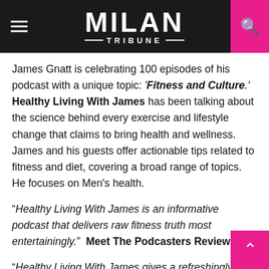MILAN TRIBUNE
James Gnatt is celebrating 100 episodes of his podcast with a unique topic: 'Fitness and Culture.' Healthy Living With James has been talking about the science behind every exercise and lifestyle change that claims to bring health and wellness. James and his guests offer actionable tips related to fitness and diet, covering a broad range of topics. He focuses on Men's health.
“Healthy Living With James is an informative podcast that delivers raw fitness truth most entertainingly.”  Meet The Podcasters Review.
“Healthy Living With James gives a refreshingly honest and entertaining take on personal training methods, clean eating, holistic wellness, etc. James Gantt knows his stuff regarding